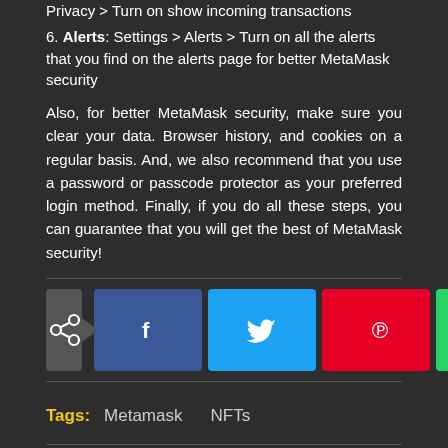Privacy > Turn on show incoming transactions
6. Alerts: Settings > Alerts > Turn on all the alerts that you find on the alerts page for better MetaMask security
Also, for better MetaMask security, make sure you clear your data. Browser history, and cookies on a regular basis. And, we also recommend that you use a password or passcode protector as your preferred login method. Finally, if you do all these steps, you can guarantee that you will get the best of MetaMask security!
[Figure (infographic): Social share buttons row: share icon with arrow, then Facebook (f), Twitter (bird), Pinterest (p), WhatsApp (phone) icons]
Tags: Metamask   NFTs